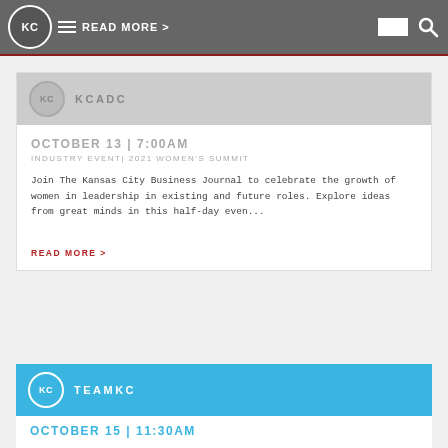READ MORE > [KC logo] [hamburger menu] [search icon]
[Figure (logo): KC circle logo in gray header bar with hamburger menu, READ MORE > text link, white rectangle and search icon]
[Figure (logo): KCADC card header with gray KC circle logo and KCADC label]
OCTOBER 13 | 7:00AM
INDUSTRY EVENT| 2021 WOMEN'S SUMMIT
Join The Kansas City Business Journal to celebrate the growth of women in leadership in existing and future roles. Explore ideas from great minds in this half-day even...
READ MORE >
[Figure (logo): TEAMKC card header with blue background, white KC circle logo and TEAMKC label]
OCTOBER 15 | 11:30AM